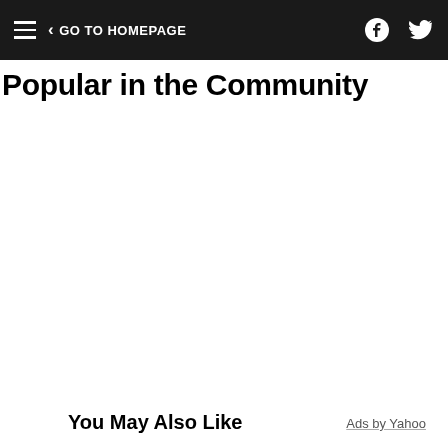≡  < GO TO HOMEPAGE
Popular in the Community
You May Also Like
Ads by Yahoo